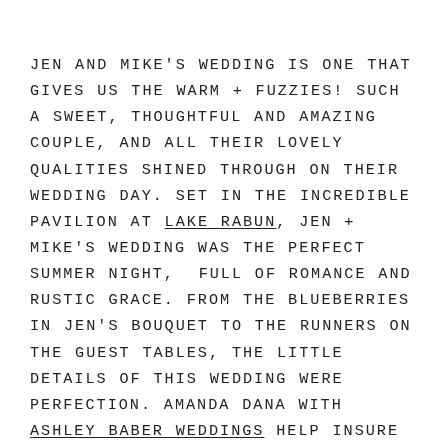JEN AND MIKE'S WEDDING IS ONE THAT GIVES US THE WARM + FUZZIES! SUCH A SWEET, THOUGHTFUL AND AMAZING COUPLE, AND ALL THEIR LOVELY QUALITIES SHINED THROUGH ON THEIR WEDDING DAY. SET IN THE INCREDIBLE PAVILION AT LAKE RABUN, JEN + MIKE'S WEDDING WAS THE PERFECT SUMMER NIGHT, FULL OF ROMANCE AND RUSTIC GRACE. FROM THE BLUEBERRIES IN JEN'S BOUQUET TO THE RUNNERS ON THE GUEST TABLES, THE LITTLE DETAILS OF THIS WEDDING WERE PERFECTION. AMANDA DANA WITH ASHLEY BABER WEDDINGS HELP INSURE EVERY ONE OF THOSE DETAILS WERE ON POINT, COORDINATING THROUGHOUT THE NIGHT. WE LOVE, LOVE, LOVE THE HANGING FLOWER INSTALLATIONS, AND ALL OF